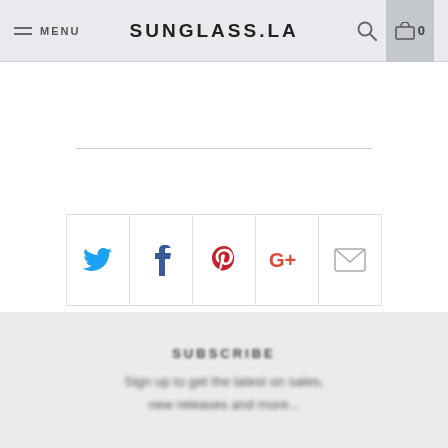MENU | SUNGLASS.LA | 🔍 🛒 0
[Figure (other): Social sharing icons row: Twitter (blue bird), Facebook (f), Pinterest (P), Google+ (G+), Email (envelope)]
@SUNGLASS.LA
SUBSCRIBE
Sign up to get the latest on sales, new releases and more...